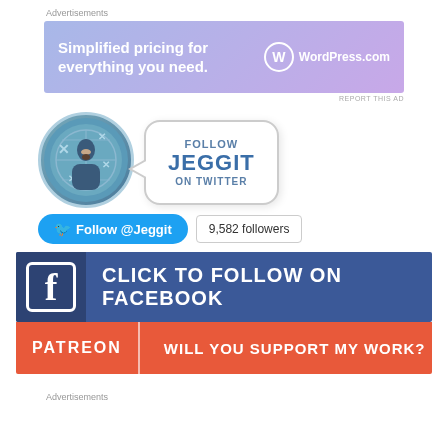Advertisements
[Figure (infographic): WordPress.com advertisement banner: 'Simplified pricing for everything you need.' with WordPress.com logo on gradient blue-purple background]
REPORT THIS AD
[Figure (infographic): Avatar of Jeggit (illustrated man) with speech bubble saying 'FOLLOW JEGGIT ON TWITTER']
[Figure (infographic): Twitter follow button showing 'Follow @Jeggit' and '9,582 followers']
[Figure (infographic): Facebook banner: 'CLICK TO FOLLOW ON FACEBOOK']
[Figure (infographic): Patreon banner: 'PATREON | WILL YOU SUPPORT MY WORK?']
Advertisements